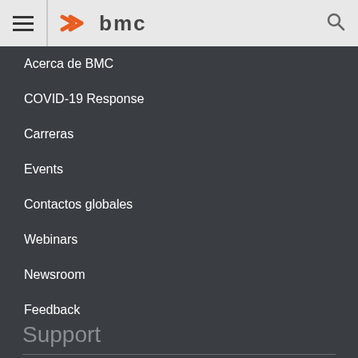BMC header with hamburger menu and logo
Acerca de BMC
COVID-19 Response
Carreras
Events
Contactos globales
Webinars
Newsroom
Feedback
Support